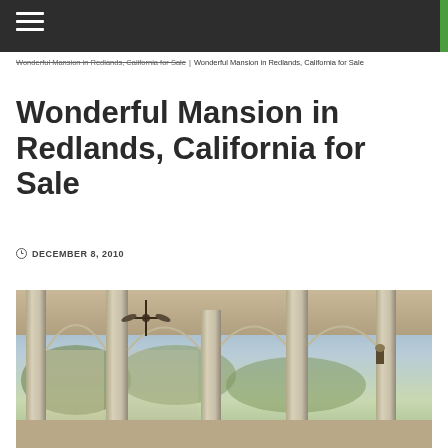Wonderful Mansion in Redlands, California for Sale | Wonderful Mansion in Redlands, California for Sale
Wonderful Mansion in Redlands, California for Sale
DECEMBER 8, 2010
[Figure (photo): Exterior colonnade of a large mansion with arched openings, tall columns, ceiling fans, and a view of green landscape in the background at golden hour.]